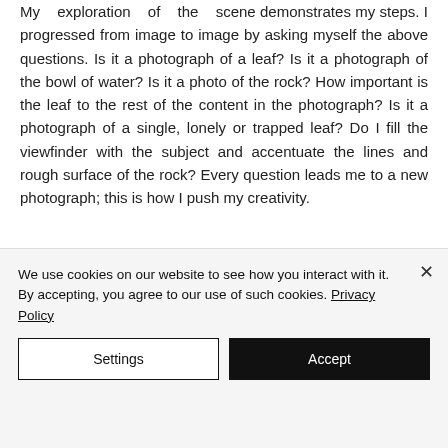My exploration of the scene demonstrates my steps. I progressed from image to image by asking myself the above questions. Is it a photograph of a leaf? Is it a photograph of the bowl of water? Is it a photo of the rock? How important is the leaf to the rest of the content in the photograph? Is it a photograph of a single, lonely or trapped leaf? Do I fill the viewfinder with the subject and accentuate the lines and rough surface of the rock? Every question leads me to a new photograph; this is how I push my creativity.
We use cookies on our website to see how you interact with it. By accepting, you agree to our use of such cookies. Privacy Policy